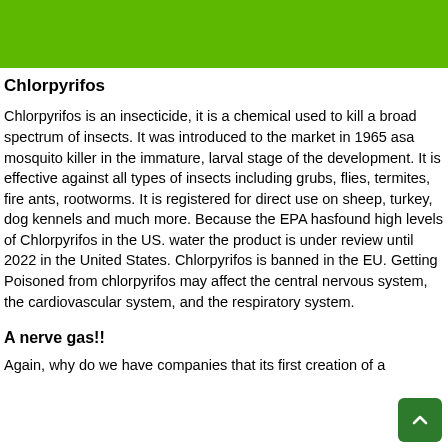Chlorpyrifos
Chlorpyrifos is an insecticide, it is a chemical used to kill a broad spectrum of insects. It was introduced to the market in 1965 asa mosquito killer in the immature, larval stage of the development. It is effective against all types of insects including grubs, flies, termites, fire ants, rootworms. It is registered for direct use on sheep, turkey, dog kennels and much more. Because the EPA hasfound high levels of Chlorpyrifos in the US. water the product is under review until 2022 in the United States. Chlorpyrifos is banned in the EU. Getting Poisoned from chlorpyrifos may affect the central nervous system, the cardiovascular system, and the respiratory system.
A nerve gas!!
Again, why do we have companies that its first creation of a